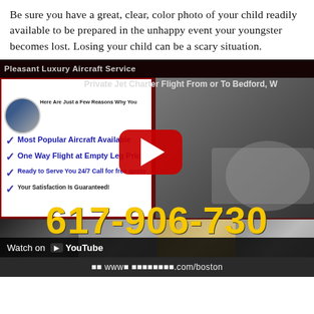Be sure you have a great, clear, color photo of your child readily available to be prepared in the unhappy event your youngster becomes lost. Losing your child can be a scary situation.
[Figure (screenshot): Screenshot of a YouTube video thumbnail for Pleasant Luxury Aircraft Service, showing a private jet charter advertisement with text: 'Here Are Just a Few Reasons Why You Private Jet Charter Flight From or To Bedford, W', 'Most Popular Aircraft Available', 'One Way Flight at Empty Leg Price', 'Ready to Serve You 24/7 Call for free quote', 'Your Satisfaction Is Guaranteed', a red play button overlay, bottom images of people near private jets and jet interiors, phone number 617-906-730(x), a 'Watch on YouTube' bar, and a URL bar with luxury charter website.]